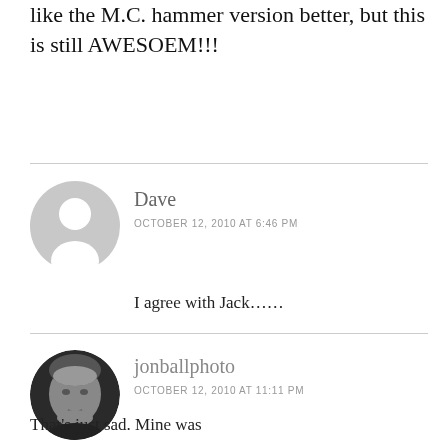like the M.C. hammer version better, but this is still AWESOEM!!!
[Figure (illustration): Generic user avatar placeholder (gray circle with white silhouette head and shoulders)]
Dave
OCTOBER 12, 2010 AT 6:46 PM
I agree with Jack……
[Figure (photo): Black and white photo of a man (jonballphoto) in a circular crop]
jonballphoto
OCTOBER 12, 2010 AT 11:11 PM
That's just sad. Mine was better